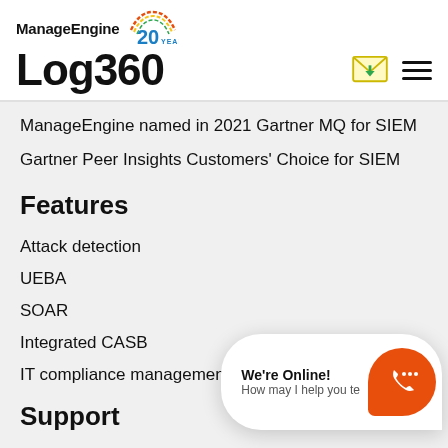ManageEngine Log360
ManageEngine named in 2021 Gartner MQ for SIEM
Gartner Peer Insights Customers' Choice for SIEM
Features
Attack detection
UEBA
SOAR
Integrated CASB
IT compliance management
Support
Getting Started